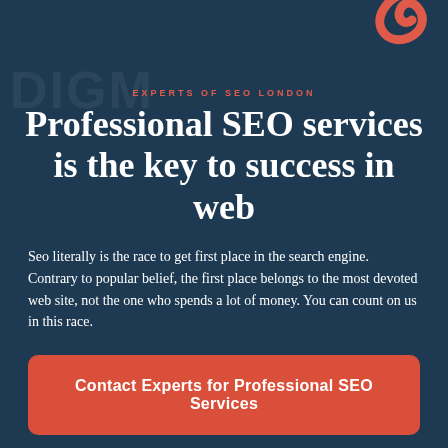EXPERTS OF SEO LONDON
Professional SEO services is the key to success in web
Seo literally is the race to get first place in the search engine. Contrary to popular belief, the first place belongs to the most devoted web site, not the one who spends a lot of money. You can count on us in this race.
Contact Experts for Professional SEO Services